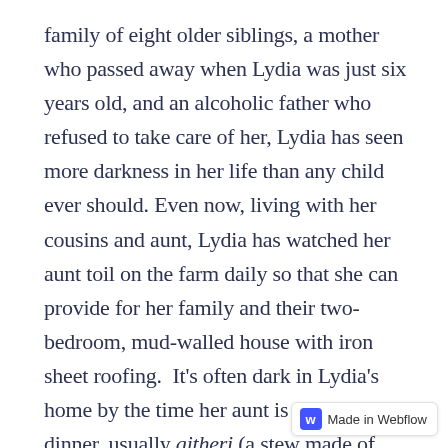family of eight older siblings, a mother who passed away when Lydia was just six years old, and an alcoholic father who refused to take care of her, Lydia has seen more darkness in her life than any child ever should. Even now, living with her cousins and aunt, Lydia has watched her aunt toil on the farm daily so that she can provide for her family and their two-bedroom, mud-walled house with iron sheet roofing.  It's often dark in Lydia's home by the time her aunt is cooking dinner, usually githeri (a stew made of beans and corn), and Lydia and her cousins are completing homework assignments. The rising costs of kerosene for lamps only make these daily tasks become even more difficult for the family. And even when they are able to have their lamps burning, prolonged usage of the kerosene lamps often results in dry coug.